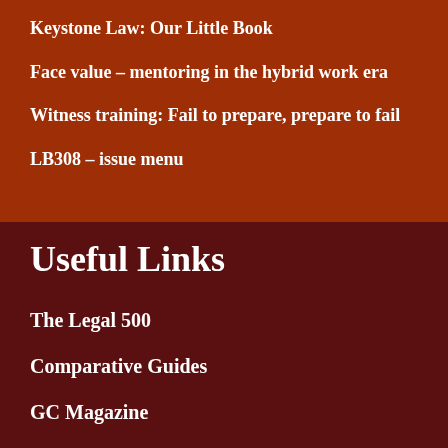Keystone Law: Our Little Book
Face value – mentoring in the hybrid work era
Witness training: Fail to prepare, prepare to fail
LB308 – issue menu
Useful Links
The Legal 500
Comparative Guides
GC Magazine